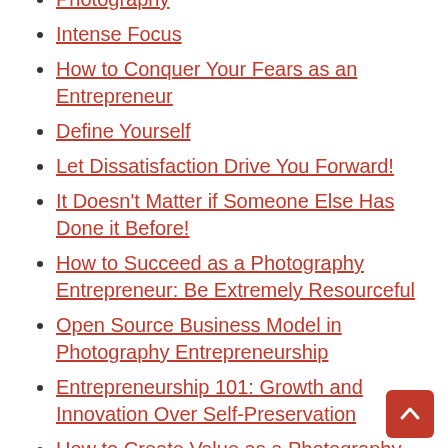Photography
Intense Focus
How to Conquer Your Fears as an Entrepreneur
Define Yourself
Let Dissatisfaction Drive You Forward!
It Doesn't Matter if Someone Else Has Done it Before!
How to Succeed as a Photography Entrepreneur: Be Extremely Resourceful
Open Source Business Model in Photography Entrepreneurship
Entrepreneurship 101: Growth and Innovation Over Self-Preservation
How to Create Value as a Photography Entrepreneur
Why Become a Photography Entrepreneur?
Why Has A...